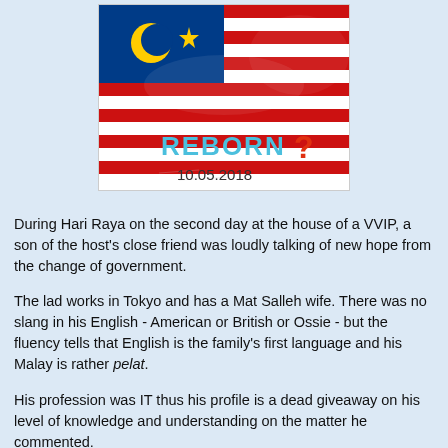[Figure (illustration): Malaysian flag waving illustration above the words 'REBORN ?' in cyan and red, with date '10.05.2018' below]
During Hari Raya on the second day at the house of a VVIP, a son of the host's close friend was loudly talking of new hope from the change of government.
The lad works in Tokyo and has a Mat Salleh wife. There was no slang in his English - American or British or Ossie - but the fluency tells that English is the family's first language and his Malay is rather pelat.
His profession was IT thus his profile is a dead giveaway on his level of knowledge and understanding on the matter he commented.